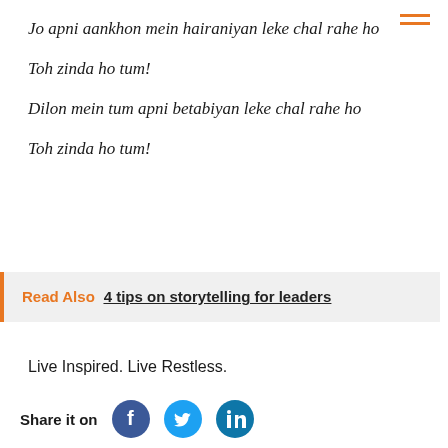Jo apni aankhon mein hairaniyan leke chal rahe ho
Toh zinda ho tum!
Dilon mein tum apni betabiyan leke chal rahe ho
Toh zinda ho tum!
Read Also  4 tips on storytelling for leaders
Live Inspired. Live Restless.
Share it on